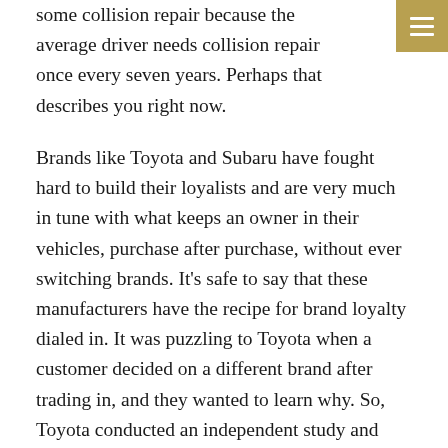some collision repair because the average driver needs collision repair once every seven years. Perhaps that describes you right now.
Brands like Toyota and Subaru have fought hard to build their loyalists and are very much in tune with what keeps an owner in their vehicles, purchase after purchase, without ever switching brands. It's safe to say that these manufacturers have the recipe for brand loyalty dialed in. It was puzzling to Toyota when a customer decided on a different brand after trading in, and they wanted to learn why. So, Toyota conducted an independent study and was surprised at the outcome.
According to Toyota national manager of service and collision operations George Irving Jr., "believe it